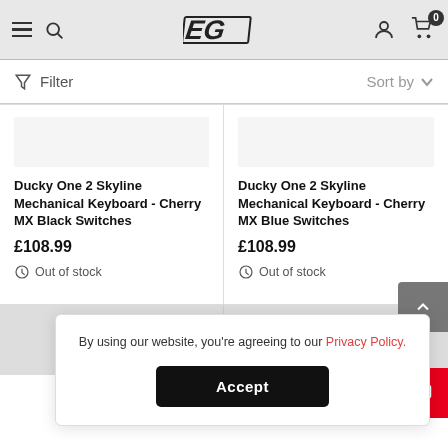[Figure (screenshot): EG e-commerce website header with hamburger menu, search icon, EG logo, user account icon, and cart with 0 items badge]
Filter  Sort by
Ducky One 2 Skyline Mechanical Keyboard - Cherry MX Black Switches
£108.99
Out of stock
Ducky One 2 Skyline Mechanical Keyboard - Cherry MX Blue Switches
£108.99
Out of stock
By using our website, you're agreeing to our Privacy Policy.
Accept